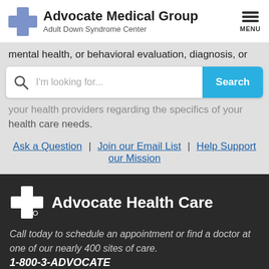[Figure (logo): Advocate Medical Group - Adult Down Syndrome Center logo with blue cross icon and menu icon]
mental health, or behavioral evaluation, diagnosis, or
[Figure (screenshot): Search bar with magnifying glass icon, placeholder text 'I'm looking for...' and a teal Search button]
your health providers regarding the specifics of your health care needs.
Ask a Question | Join our Email List | Help Support our Mission
[Figure (logo): Advocate Health Care logo with white cross icon on dark background]
Call today to schedule an appointment or find a doctor at one of our nearly 400 sites of care. 1-800-3-ADVOCATE